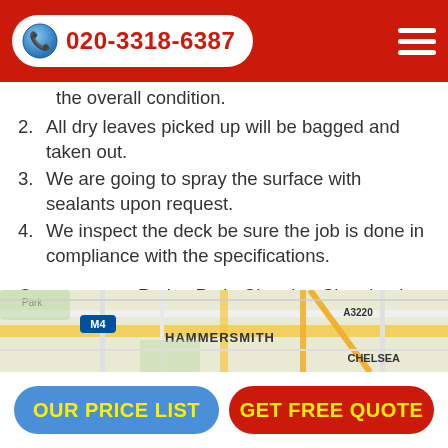020-3318-6387
the overall condition.
All dry leaves picked up will be bagged and taken out.
We are going to spray the surface with sealants upon request.
We inspect the deck be sure the job is done in compliance with the specifications.
Our company, Prolux Patio Cleaning Cleaning in Fulham is available to take care of your patio. We are available to speak with you at any time.
Give us a call now to discuss your deck or driveway cleaning with us. Our operators are on line for you.
[Figure (map): Street map showing Hammersmith, Chelsea, M4, A3220 areas in London]
OUR PRICE LIST | GET FREE QUOTE